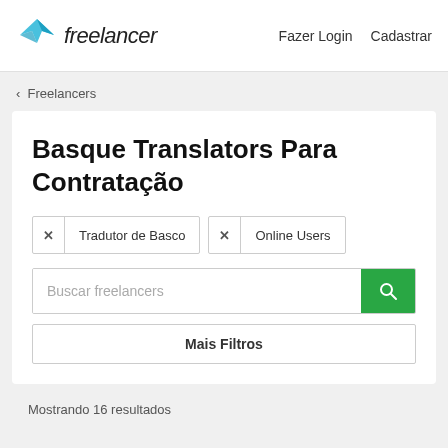freelancer  Fazer Login  Cadastrar
‹ Freelancers
Basque Translators Para Contratação
✕ Tradutor de Basco  ✕ Online Users
Buscar freelancers
Mais Filtros
Mostrando 16 resultados